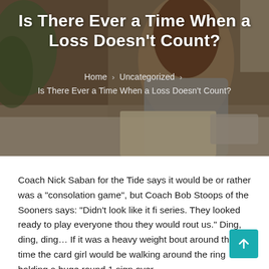[Figure (photo): Woman with glasses and long brown hair sitting at a desk, writing in a notebook and using a calculator in an office setting with plants in the background.]
Is There Ever a Time When a Loss Doesn't Count?
Home > Uncategorized > Is There Ever a Time When a Loss Doesn't Count?
Coach Nick Saban for the Tide says it would be or rather was a “consolation game”, but Coach Bob Stoops of the Sooners says: “Didn’t look like it fi series. They looked ready to play everyone thou they would rout us.” Ding, ding, ding… If it was a heavy weight bout around this time the card girl would be walking around the ring holding a huge round 1 sign over